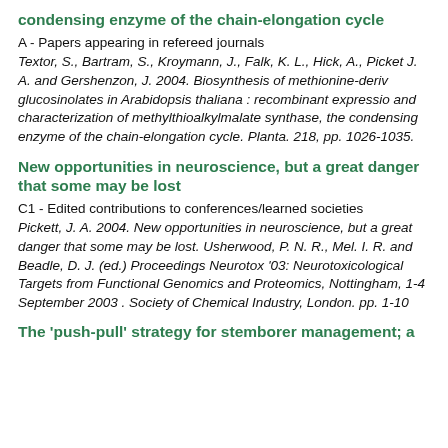condensing enzyme of the chain-elongation cycle
A - Papers appearing in refereed journals
Textor, S., Bartram, S., Kroymann, J., Falk, K. L., Hick, A., Picket J. A. and Gershenzon, J. 2004. Biosynthesis of methionine-derived glucosinolates in Arabidopsis thaliana : recombinant expression and characterization of methylthioalkylmalate synthase, the condensing enzyme of the chain-elongation cycle. Planta. 218, pp. 1026-1035.
New opportunities in neuroscience, but a great danger that some may be lost
C1 - Edited contributions to conferences/learned societies
Pickett, J. A. 2004. New opportunities in neuroscience, but a great danger that some may be lost. Usherwood, P. N. R., Mel. I. R. and Beadle, D. J. (ed.) Proceedings Neurotox '03: Neurotoxicological Targets from Functional Genomics and Proteomics, Nottingham, 1-4 September 2003 . Society of Chemical Industry, London. pp. 1-10
The 'push-pull' strategy for stemborer management: a